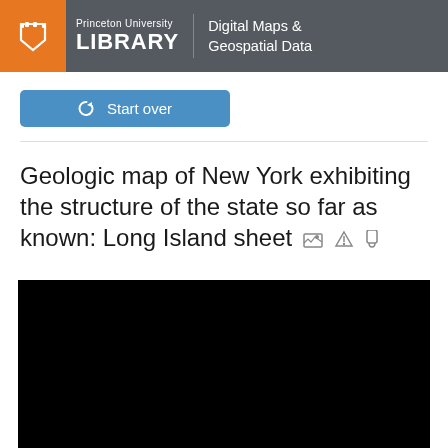Princeton University LIBRARY | Digital Maps & Geospatial Data
Start over
Geologic map of New York exhibiting the structure of the state so far as known: Long Island sheet
[Figure (map): Black thumbnail preview of the geologic map of Long Island sheet]